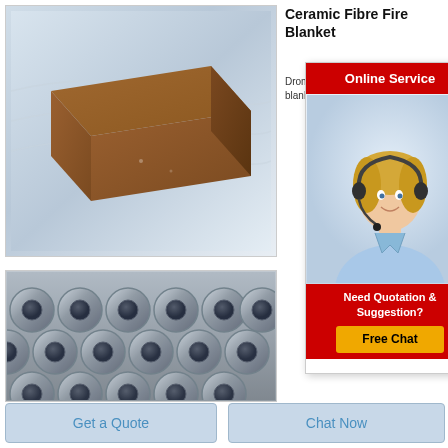[Figure (photo): Brown ceramic fibre fire brick/blanket product on light gray/blue gradient background]
Ceramic Fibre Fire Blanket
Drom... blank...
[Figure (photo): Gray cylindrical pipes/tubes stacked in rows viewed from front, showing circular cross-sections]
[Figure (infographic): Online Service popup overlay with red header, customer service agent woman wearing headset, and Free Chat button with Need Quotation & Suggestion text]
Get a Quote
Chat Now